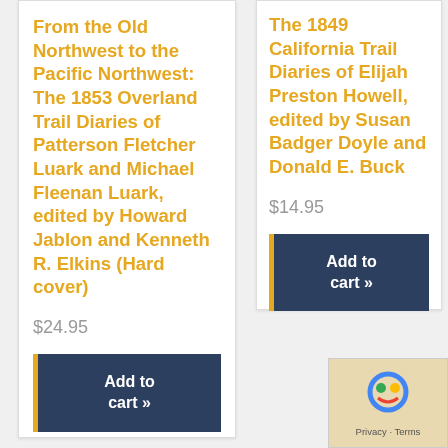From the Old Northwest to the Pacific Northwest: The 1853 Overland Trail Diaries of Patterson Fletcher Luark and Michael Fleenan Luark, edited by Howard Jablon and Kenneth R. Elkins (Hard cover)
$24.95
Add to cart »
The 1849 California Trail Diaries of Elijah Preston Howell, edited by Susan Badger Doyle and Donald E. Buck
$14.95
Add to cart »